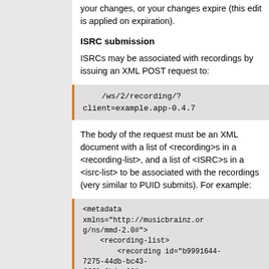your changes, or your changes expire (this edit is applied on expiration).
ISRC submission
ISRCs may be associated with recordings by issuing an XML POST request to:
/ws/2/recording/?
client=example.app-0.4.7
The body of the request must be an XML document with a list of <recording>s in a <recording-list>, and a list of <ISRC>s in a <isrc-list> to be associated with the recordings (very similar to PUID submits). For example:
<metadata xmlns="http://musicbrainz.org/ns/mmd-2.0#">
    <recording-list>
        <recording id="b9991644-7275-44db-bc43-fff6c6b4ce69">
            <isrc-list count="1">
                <isrc id="JRR000001001" />